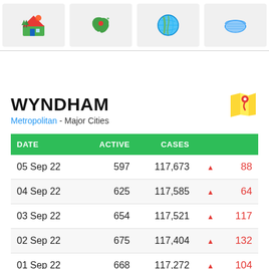[Figure (infographic): Navigation bar with four icon buttons: house/home emoji, Australia map emoji, globe emoji, face mask emoji]
WYNDHAM
Metropolitan - Major Cities
| DATE | ACTIVE | CASES |  |  |
| --- | --- | --- | --- | --- |
| 05 Sep 22 | 597 | 117,673 | ▲ | 88 |
| 04 Sep 22 | 625 | 117,585 | ▲ | 64 |
| 03 Sep 22 | 654 | 117,521 | ▲ | 117 |
| 02 Sep 22 | 675 | 117,404 | ▲ | 132 |
| 01 Sep 22 | 668 | 117,272 | ▲ | 104 |
| 31 Aug 22 | 718 | 117,168 | ▲ | 101 |